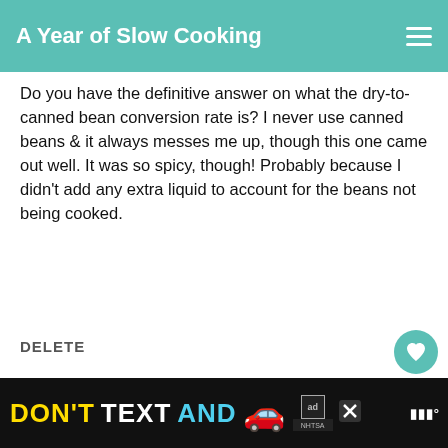A Year of Slow Cooking
Do you have the definitive answer on what the dry-to-canned bean conversion rate is? I never use canned beans & it always messes me up, though this one came out well. It was so spicy, though! Probably because I didn't add any extra liquid to account for the beans not being cooked.
DELETE
STEPHANIE ODEA
10/07/2008
Brenna, no.
WHAT'S NEXT → The CrockPot Diet
[Figure (screenshot): Advertisement banner at the bottom: DON'T TEXT AND with a car emoji, ad badge, and NHTSA logo on dark background]